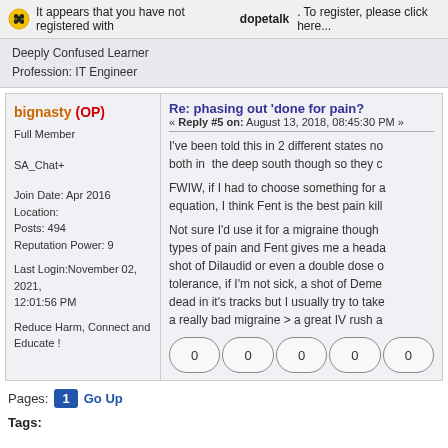It appears that you have not registered with dopetalk. To register, please click here...
Deeply Confused Learner
Profession: IT Engineer
bignasty (OP)
Full Member
SA_Chat+
Join Date: Apr 2016
Location:
Posts: 494
Reputation Power: 9
Last Login: November 02, 2021, 12:01:56 PM
Reduce Harm, Connect and Educate !
Re: phasing out 'done for pain?
« Reply #5 on: August 13, 2018, 08:45:30 PM »
I've been told this in 2 different states no both in the deep south though so they c
FWIW, if I had to choose something for a equation, I think Fent is the best pain kill
Not sure I'd use it for a migraine though types of pain and Fent gives me a heada shot of Dilaudid or even a double dose o tolerance, if I'm not sick, a shot of Deme dead in it's tracks but I usually try to take a really bad migraine > a great IV rush a
0  0  0  0  0
Pages: 1  Go Up
Tags: